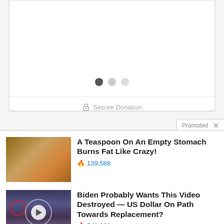[Figure (screenshot): Top card UI element with pagination dots and secure donation footer area]
Secure Donation
Promoted ×
[Figure (photo): Thumbnail showing person flexing and spice/supplement image]
A Teaspoon On An Empty Stomach Burns Fat Like Crazy! 🔥 139,588
[Figure (photo): Thumbnail showing group of people with red circle overlay and play button]
Biden Probably Wants This Video Destroyed — US Dollar On Path Towards Replacement? 🔥 548,826